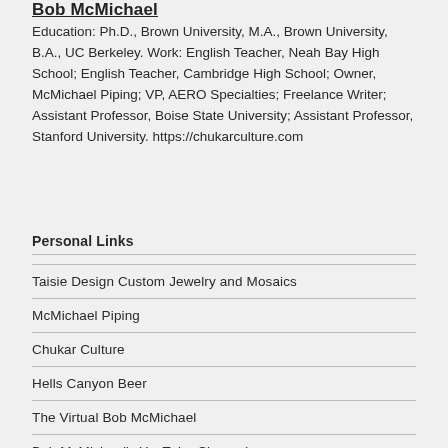Bob McMichael
Education: Ph.D., Brown University, M.A., Brown University, B.A., UC Berkeley. Work: English Teacher, Neah Bay High School; English Teacher, Cambridge High School; Owner, McMichael Piping; VP, AERO Specialties; Freelance Writer; Assistant Professor, Boise State University; Assistant Professor, Stanford University. https://chukarculture.com
Personal Links
Taisie Design Custom Jewelry and Mosaics
McMichael Piping
Chukar Culture
Hells Canyon Beer
The Virtual Bob McMichael
Bob McMichael's YouTube Channel